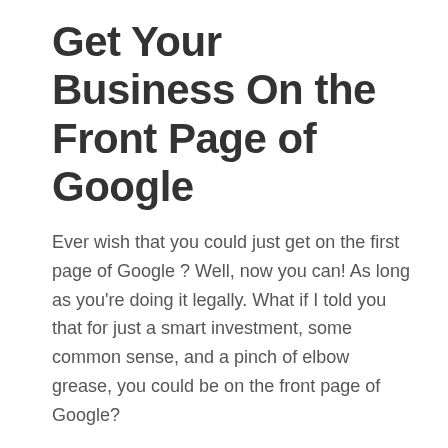Get Your Business On the Front Page of Google
Ever wish that you could just get on the first page of Google ? Well, now you can! As long as you're doing it legally. What if I told you that for just a smart investment, some common sense, and a pinch of elbow grease, you could be on the front page of Google?